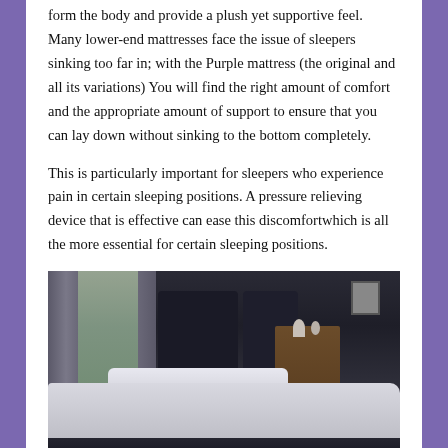form the body and provide a plush yet supportive feel. Many lower-end mattresses face the issue of sleepers sinking too far in; with the Purple mattress (the original and all its variations) You will find the right amount of comfort and the appropriate amount of support to ensure that you can lay down without sinking to the bottom completely.
This is particularly important for sleepers who experience pain in certain sleeping positions. A pressure relieving device that is effective can ease this discomfortwhich is all the more essential for certain sleeping positions.
[Figure (photo): A dark bedroom scene showing curtains near a window, a bed with white/grey bedding and pillow, a wooden nightstand, and dark headboard panels.]